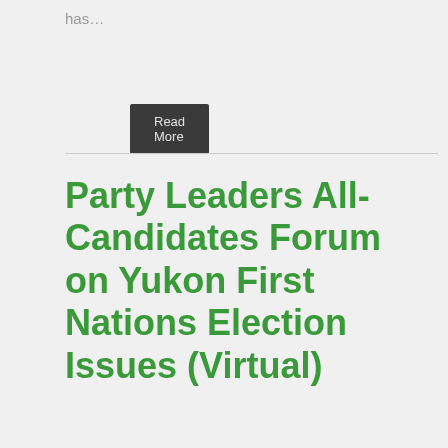has…
Read More
Party Leaders All-Candidates Forum on Yukon First Nations Election Issues (Virtual)